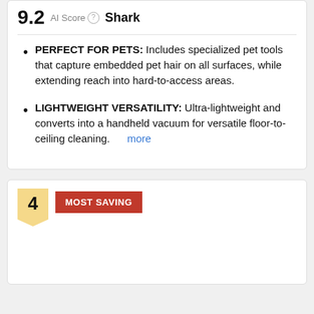9.2  AI Score  Shark
PERFECT FOR PETS: Includes specialized pet tools that capture embedded pet hair on all surfaces, while extending reach into hard-to-access areas.
LIGHTWEIGHT VERSATILITY: Ultra-lightweight and converts into a handheld vacuum for versatile floor-to-ceiling cleaning.  more
4  MOST SAVING